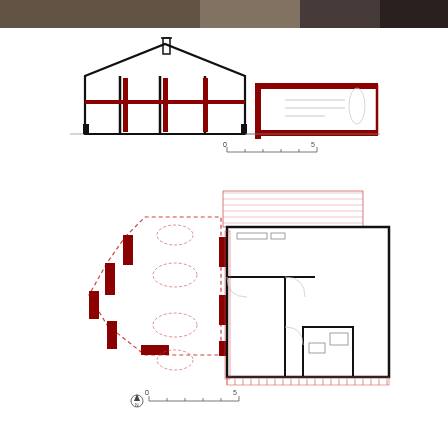[Figure (photo): Partial photo strip at top of page, dark/brown tones, appears to be interior or exterior building photo]
[Figure (engineering-diagram): Architectural cross-section drawing showing a house with pitched roof, large glazed facade (black and red mullions), and an attached lower wing section in red outline. Scale bar below with tick marks labeled 0 to 5.]
[Figure (engineering-diagram): Architectural floor plan drawing showing building footprint: pentagon/angled left wing with red dashed walls, central corridor with red accent walls, and right rectangular section with rooms (kitchen, bathroom, bedrooms) in black walls. North arrow and scale bar labeled 0 to 5 below.]